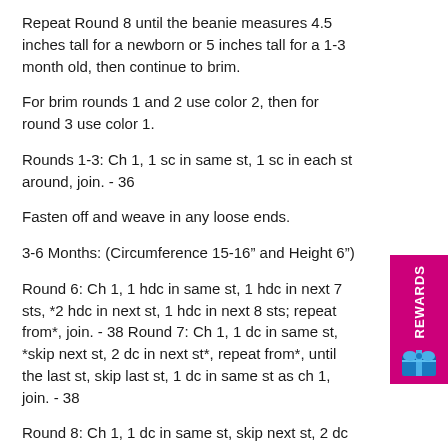Repeat Round 8 until the beanie measures 4.5 inches tall for a newborn or 5 inches tall for a 1-3 month old, then continue to brim.
For brim rounds 1 and 2 use color 2, then for round 3 use color 1.
Rounds 1-3: Ch 1, 1 sc in same st, 1 sc in each st around, join. - 36
Fasten off and weave in any loose ends.
3-6 Months: (Circumference 15-16” and Height 6”)
Round 6: Ch 1, 1 hdc in same st, 1 hdc in next 7 sts, *2 hdc in next st, 1 hdc in next 8 sts; repeat from*, join. - 38 Round 7: Ch 1, 1 dc in same st, *skip next st, 2 dc in next st*, repeat from*, until the last st, skip last st, 1 dc in same st as ch 1, join. - 38
Round 8: Ch 1, 1 dc in same st, skip next st, 2 dc between